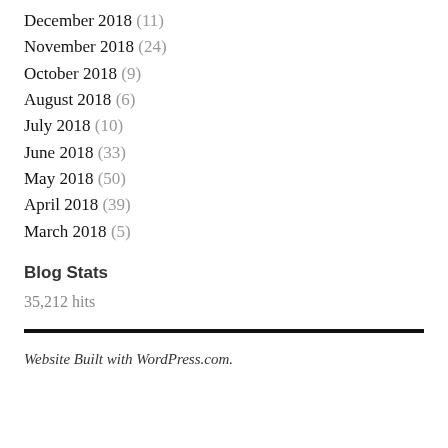December 2018 (11)
November 2018 (24)
October 2018 (9)
August 2018 (6)
July 2018 (10)
June 2018 (33)
May 2018 (50)
April 2018 (39)
March 2018 (5)
Blog Stats
35,212 hits
Website Built with WordPress.com.